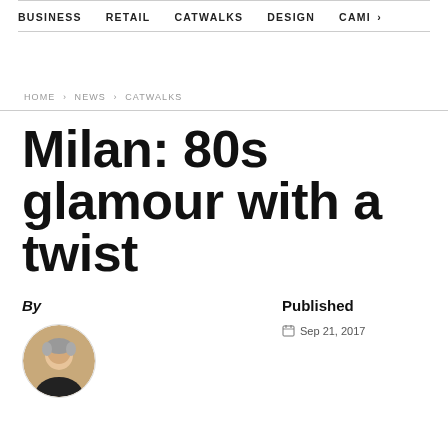BUSINESS   RETAIL   CATWALKS   DESIGN   CAMI  >
HOME › NEWS › CATWALKS
Milan: 80s glamour with a twist
By
Published   Sep 21, 2017